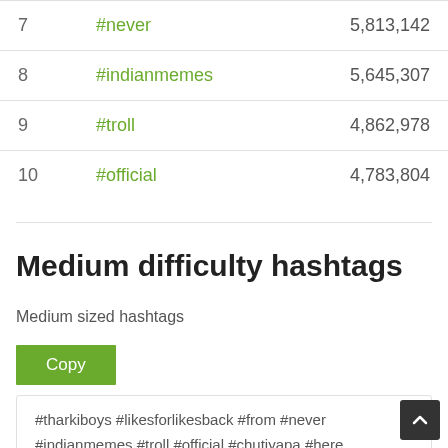| # | Hashtag | Count |
| --- | --- | --- |
| 7 | #never | 5,813,142 |
| 8 | #indianmemes | 5,645,307 |
| 9 | #troll | 4,862,978 |
| 10 | #official | 4,783,804 |
Medium difficulty hashtags
Medium sized hashtags
Copy
#tharkiboys #likesforlikesback #from #never #indianmemes #troll #official #chutiyapa #here #likesback #likesforspam #adultmemes #bakchod #schooldays #bakchodiyan #chutiya #nsation #adultgram #tharki #